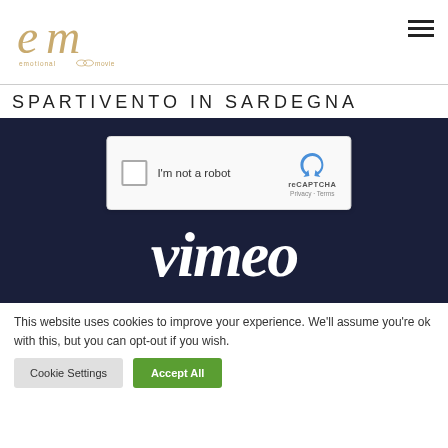[Figure (logo): emotional movie logo - cursive em letters in gold/tan with text 'emotional movie' below]
SPARTIVENTO IN SARDEGNA
[Figure (screenshot): Vimeo video player showing reCAPTCHA 'I'm not a robot' dialog overlay on dark navy background with Vimeo logo in white italic text]
This website uses cookies to improve your experience. We'll assume you're ok with this, but you can opt-out if you wish.
Cookie Settings  Accept All